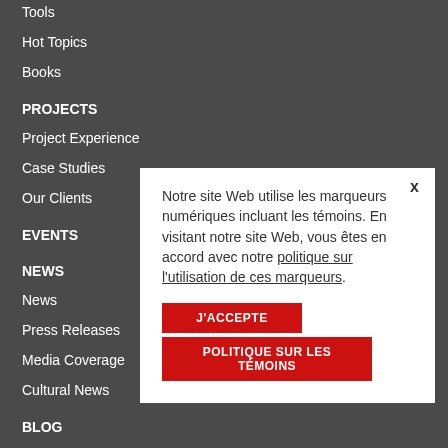Tools
Hot Topics
Books
PROJECTS
Project Experience
Case Studies
Our Clients
EVENTS
NEWS
News
Press Releases
Media Coverage
Cultural News
BLOG
CONTACT
FRANÇAIS
Notre site Web utilise les marqueurs numériques incluant les témoins. En visitant notre site Web, vous êtes en accord avec notre politique sur l'utilisation de ces marqueurs.
J'ACCEPTE
POLITIQUE SUR LES TÉMOINS